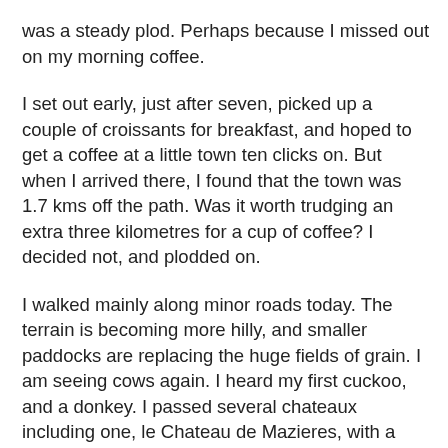was a steady plod. Perhaps because I missed out on my morning coffee.
I set out early, just after seven, picked up a couple of croissants for breakfast, and hoped to get a coffee at a little town ten clicks on. But when I arrived there, I found that the town was 1.7 kms off the path. Was it worth trudging an extra three kilometres for a cup of coffee? I decided not, and plodded on.
I walked mainly along minor roads today. The terrain is becoming more hilly, and smaller paddocks are replacing the huge fields of grain. I am seeing cows again. I heard my first cuckoo, and a donkey. I passed several chateaux including one, le Chateau de Mazieres, with a 12th century donjon (tower).
My spirits revived when I reached the little town of Saint-Marcel, just short of Argenton. I had a grand cafe noir at a bar in the main square.